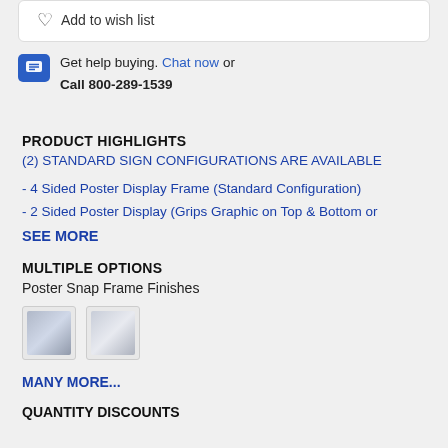Add to wish list
Get help buying. Chat now or Call 800-289-1539
PRODUCT HIGHLIGHTS
(2) STANDARD SIGN CONFIGURATIONS ARE AVAILABLE
- 4 Sided Poster Display Frame (Standard Configuration)
- 2 Sided Poster Display (Grips Graphic on Top & Bottom or
SEE MORE
MULTIPLE OPTIONS
Poster Snap Frame Finishes
[Figure (photo): Two thumbnail images of poster snap frame finishes]
MANY MORE...
QUANTITY DISCOUNTS